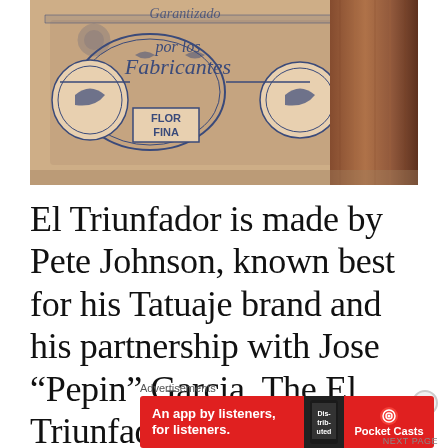[Figure (photo): Close-up photo of a cigar box label with ornate blue printed design reading 'por los Fabricantes' and 'FLOR FINA' with decorative medallions, and a dark brown cigar visible on the right side.]
El Triunfador is made by Pete Johnson, known best for his Tatuaje brand and his partnership with Jose “Pepin” Garcia. The El Triunfador name is an old Cuban mark
Advertisements
[Figure (other): Red advertisement banner for Pocket Casts app with text: An app by listeners, for listeners. Shows 'Distributed' text on phone graphic and Pocket Casts logo.]